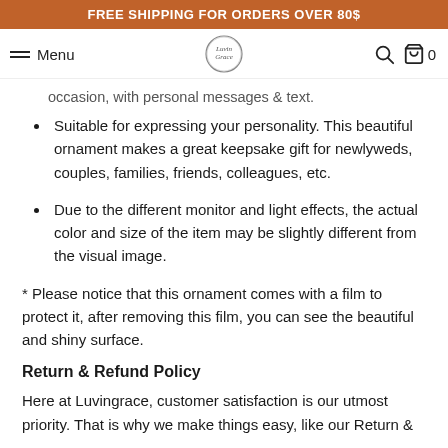FREE SHIPPING FOR ORDERS OVER 80$
Menu | LuvinGrace | Search | Cart 0
occasion, with personal messages & text.
Suitable for expressing your personality. This beautiful ornament makes a great keepsake gift for newlyweds, couples, families, friends, colleagues, etc.
Due to the different monitor and light effects, the actual color and size of the item may be slightly different from the visual image.
* Please notice that this ornament comes with a film to protect it, after removing this film, you can see the beautiful and shiny surface.
Return & Refund Policy
Here at Luvingrace, customer satisfaction is our utmost priority. That is why we make things easy, like our Return &